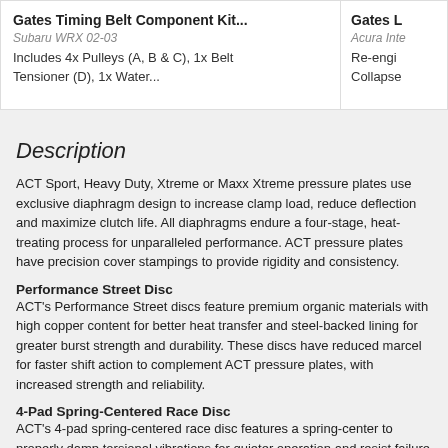[Figure (screenshot): Top bar showing two product cards: 'Gates Timing Belt Component Kit... Subaru WRX 02-03, Includes 4x Pulleys (A, B & C), 1x Belt Tensioner (D), 1x Water...' and a partially visible second card 'Gates L... Acura Inte... Re-engi... Collapse']
Description
ACT Sport, Heavy Duty, Xtreme or Maxx Xtreme pressure plates use exclusive diaphragm design to increase clamp load, reduce deflection and maximize clutch life. All diaphragms endure a four-stage, heat-treating process for unparalleled performance. ACT pressure plates have precision cover stampings to provide rigidity and consistency.
Performance Street Disc
ACT's Performance Street discs feature premium organic materials with high copper content for better heat transfer and steel-backed lining for greater burst strength and durability. These discs have reduced marcel for faster shift action to complement ACT pressure plates, with increased strength and reliability.
4-Pad Spring-Centered Race Disc
ACT's 4-pad spring-centered race disc features a spring-center to properly damp torsional vibrations for quieter operation and resist failure even under harsh conditions. ACT spring retainers utilize wraparound spring windows and thicker retainer stampings to provide spring support, reduce stress concentrations, and increase strength and reliability. With the 4-pad spring-centered race disc, engagement is harsher, but shifting is faster. ACT's 4-pad spring-centered race disc is well-suited for smaller disc sizes in smaller engines.